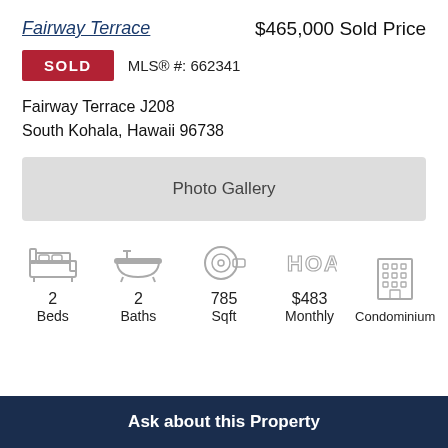Fairway Terrace
$465,000 Sold Price
SOLD   MLS® #: 662341
Fairway Terrace J208
South Kohala, Hawaii 96738
[Figure (other): Photo Gallery button placeholder]
[Figure (infographic): Property icons: 2 Beds, 2 Baths, 785 Sqft, $483 Monthly HOA, Condominium]
Ask about this Property